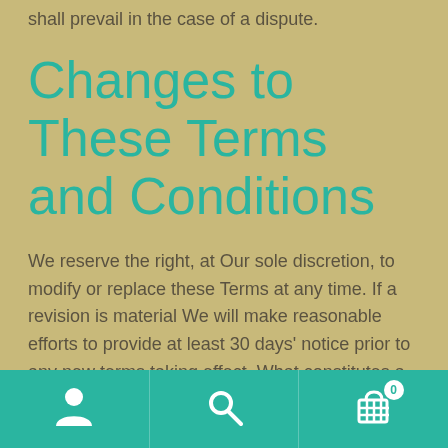our Service. You agree that this original English text shall prevail in the case of a dispute.
Changes to These Terms and Conditions
We reserve the right, at Our sole discretion, to modify or replace these Terms at any time. If a revision is material We will make reasonable efforts to provide at least 30 days' notice prior to any new terms taking effect. What constitutes a material change will be determined at Our sole discretion.